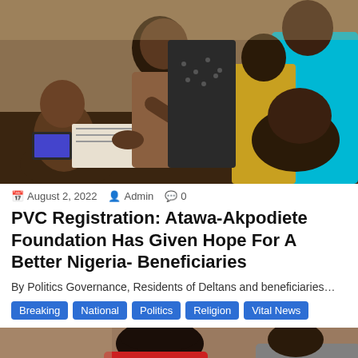[Figure (photo): Group of people gathered around a table where someone is signing or filling out documents, related to PVC voter registration process.]
August 2, 2022  Admin  0
PVC Registration: Atawa-Akpodiete Foundation Has Given Hope For A Better Nigeria- Beneficiaries
By Politics Governance, Residents of Deltans and beneficiaries…
Breaking
National
Politics
Religion
Vital News
[Figure (photo): Partial view of people, bottom of page image cropped.]